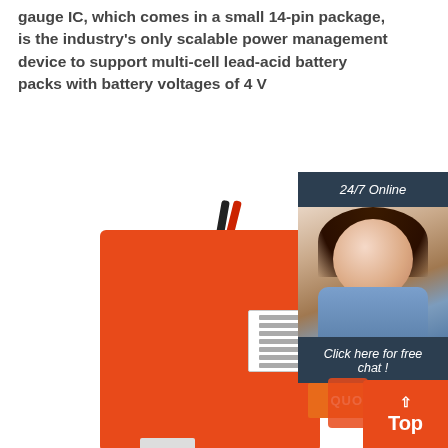gauge IC, which comes in a small 14-pin package, is the industry's only scalable power management device to support multi-cell lead-acid battery packs with battery voltages of 4 V
[Figure (photo): Orange/red rectangular lead-acid battery pack with black and red wires and connector, white label on front, product placed on white background. To the right: a 24/7 online chat widget showing a smiling woman with headset, dark header bar, 'Click here for free chat!' text, and an orange QUOTATION button. Bottom right corner shows a red 'Top' scroll button.]